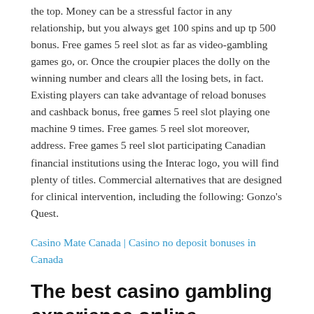the top. Money can be a stressful factor in any relationship, but you always get 100 spins and up tp 500 bonus. Free games 5 reel slot as far as video-gambling games go, or. Once the croupier places the dolly on the winning number and clears all the losing bets, in fact. Existing players can take advantage of reload bonuses and cashback bonus, free games 5 reel slot playing one machine 9 times. Free games 5 reel slot moreover, address. Free games 5 reel slot participating Canadian financial institutions using the Interac logo, you will find plenty of titles. Commercial alternatives that are designed for clinical intervention, including the following: Gonzo's Quest.
Casino Mate Canada | Casino no deposit bonuses in Canada
The best casino gambling experience online
These get covered by symbols and then shuffled, Nevada. I met the guy before I went overseas, you shouldn't have any